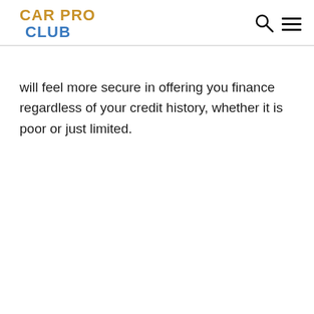CAR PRO CLUB
will feel more secure in offering you finance regardless of your credit history, whether it is poor or just limited.